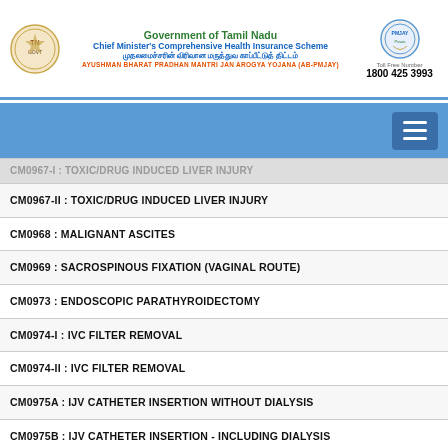Government of Tamil Nadu
Chief Minister's Comprehensive Health Insurance Scheme
AYUSHMAN BHARAT PRADHAN MANTRI JAN AROGYA YOJANA (AB-PMJAY)
Toll Free Number: 1800 425 3993
CM0967-I : TOXIC/DRUG INDUCED LIVER INJURY (partially visible)
CM0967-II : TOXIC/DRUG INDUCED LIVER INJURY
CM0968 : MALIGNANT ASCITES
CM0969 : SACROSPINOUS FIXATION (VAGINAL ROUTE)
CM0973 : ENDOSCOPIC PARATHYROIDECTOMY
CM0974-I : IVC FILTER REMOVAL
CM0974-II : IVC FILTER REMOVAL
CM0975A : IJV CATHETER INSERTION WITHOUT DIALYSIS
CM0975B : IJV CATHETER INSERTION - INCLUDING DIALYSIS
CM0976A : CT / C-ARM GUIDED DISC OZONE NUCLEOLYSIS (CERVICAL / THORACIC / LUMBAR DISC)
CM0976B : USG GUIDED DISC OZONE NUCLEOLYSIS (CERVICAL / THORACIC / LUMBAR DISC)
CM0978 : C-ARM GUIDED INTRA ARTICULAR INJECTIONS (SHOULDER / ELBOW / WRIST / HIP / KNEE / ANKLE / JOINTS OF FOOT AND HAND